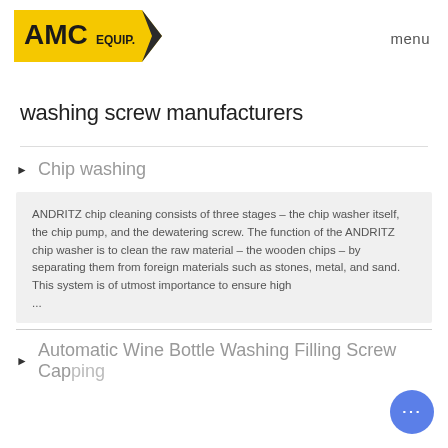[Figure (logo): AMC EQUIP. logo with yellow background and black arrow shape pointing left, with 'menu' text on the right]
washing screw manufacturers
Chip washing
ANDRITZ chip cleaning consists of three stages – the chip washer itself, the chip pump, and the dewatering screw. The function of the ANDRITZ chip washer is to clean the raw material – the wooden chips – by separating them from foreign materials such as stones, metal, and sand. This system is of utmost importance to ensure high ...
Automatic Wine Bottle Washing Filling Screw Capping